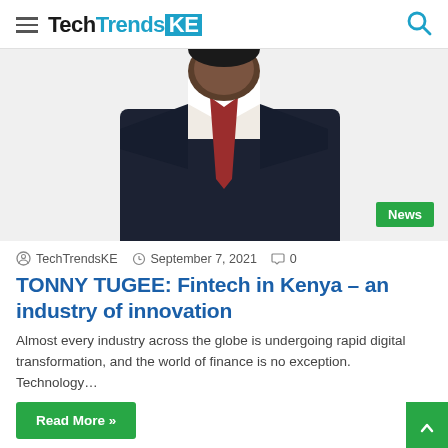TechTrendsKE
[Figure (photo): Man in dark suit and red tie, partial upper body shot on white background]
TechTrendsKE  September 7, 2021  0
TONNY TUGEE: Fintech in Kenya – an industry of innovation
Almost every industry across the globe is undergoing rapid digital transformation, and the world of finance is no exception. Technology…
Read More »
[Figure (screenshot): Bottom preview of next article showing partial image with teal circle and mobile device]